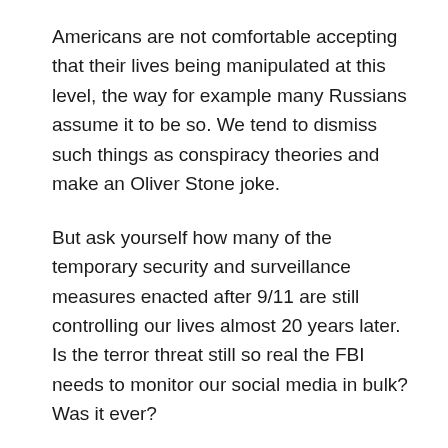Americans are not comfortable accepting that their lives being manipulated at this level, the way for example many Russians assume it to be so. We tend to dismiss such things as conspiracy theories and make an Oliver Stone joke.
But ask yourself how many of the temporary security and surveillance measures enacted after 9/11 are still controlling our lives almost 20 years later. Is the terror threat still so real the FBI needs to monitor our social media in bulk? Was it ever?